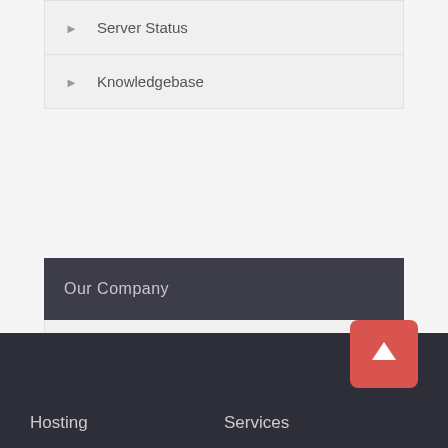Server Status
Knowledgebase
Our Company
About Us
Contact Us
Promotions
Opening Hours
Hosting    Services